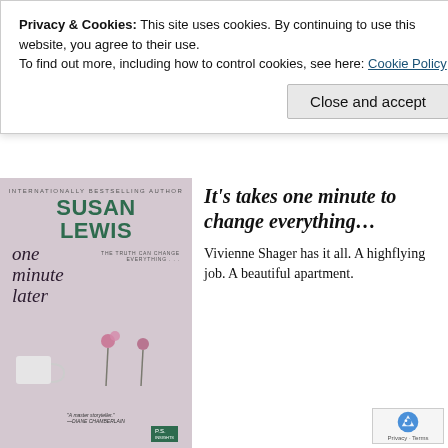Privacy & Cookies: This site uses cookies. By continuing to use this website, you agree to their use.
To find out more, including how to control cookies, see here: Cookie Policy
Close and accept
[Figure (photo): Book cover of 'One Minute Later' by Susan Lewis. Shows the author name 'SUSAN LEWIS' in large green text, subtitle 'one minute later' in italic serif, tagline 'THE TRUTH CAN CHANGE EVERYTHING...', pink flowers and a mug on a light background. Quote: 'A master storyteller.' —DIANE CHAMBERLAIN. P.S. badge in corner.]
It's takes one minute to change everything…
Vivienne Shager has it all. A highflying job. A beautiful apartment.